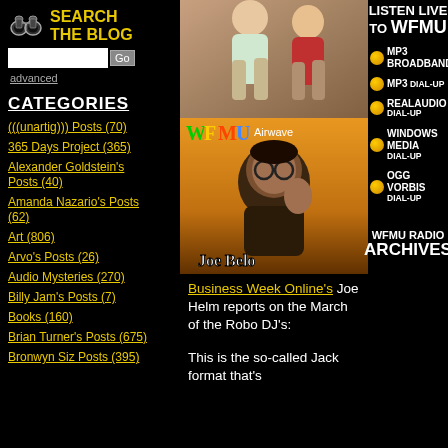[Figure (screenshot): WFMU blog website screenshot showing search widget, categories, middle column images, and right column streaming options]
SEARCH THE BLOG
advanced
CATEGORIES
(((unartig))) Posts (70)
365 Days Project (365)
Alexander Goldstein's Posts (40)
Amanda Nazario's Posts (62)
Art (806)
Arvo's Posts (26)
Audio Mysteries (270)
Billy Jam's Posts (7)
Books (160)
Brian Turner's Posts (675)
Bronwyn Siz Posts (395)
[Figure (photo): Top: cropped photo of two people. Bottom: WFMU Airwaves cover image with Joe Belo]
Business Week Online's Joe Helm reports on the March of the Robo DJ's:

This is the so-called Jack format that's
LISTEN LIVE TO WFMU
MP3 BROADBAND
MP3 DIAL-UP
REALAUDIO DIAL-UP
WINDOWS MEDIA DIAL-UP
OGG VORBIS DIAL-UP
WFMU RADIO ARCHIVES